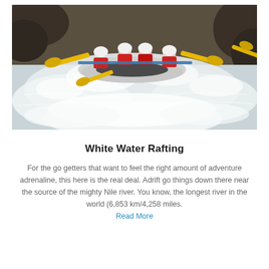[Figure (photo): White water rafting photo showing a group of people in helmets paddling a raft through turbulent white water rapids with yellow paddles]
White Water Rafting
For the go getters that want to feel the right amount of adventure adrenaline, this here is the real deal. Adrift go things down there near the source of the mighty Nile river. You know, the longest river in the world (6,853 km/4,258 miles. Read More